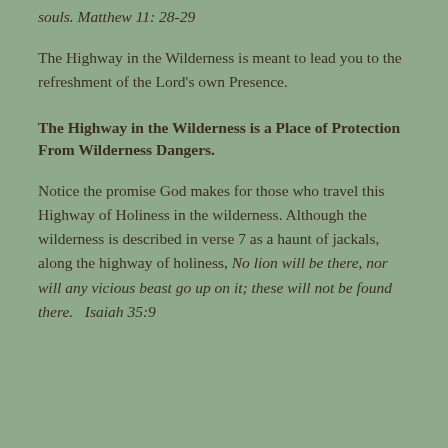souls. Matthew 11: 28-29
The Highway in the Wilderness is meant to lead you to the refreshment of the Lord's own Presence.
The Highway in the Wilderness is a Place of Protection From Wilderness Dangers.
Notice the promise God makes for those who travel this Highway of Holiness in the wilderness. Although the wilderness is described in verse 7 as a haunt of jackals, along the highway of holiness, No lion will be there, nor will any vicious beast go up on it; these will not be found there.   Isaiah 35:9